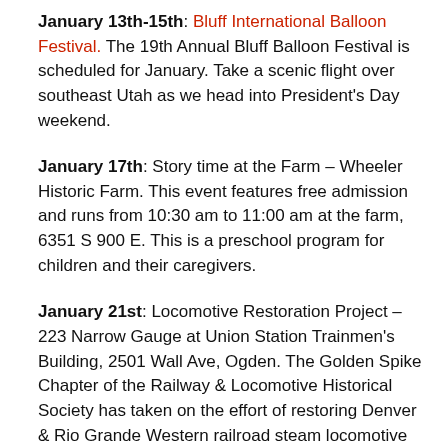January 13th-15th: Bluff International Balloon Festival. The 19th Annual Bluff Balloon Festival is scheduled for January. Take a scenic flight over southeast Utah as we head into President's Day weekend.
January 17th: Story time at the Farm – Wheeler Historic Farm. This event features free admission and runs from 10:30 am to 11:00 am at the farm, 6351 S 900 E. This is a preschool program for children and their caregivers.
January 21st: Locomotive Restoration Project – 223 Narrow Gauge at Union Station Trainmen's Building, 2501 Wall Ave, Ogden. The Golden Spike Chapter of the Railway & Locomotive Historical Society has taken on the effort of restoring Denver & Rio Grande Western railroad steam locomotive #223 to an operational engine. Work